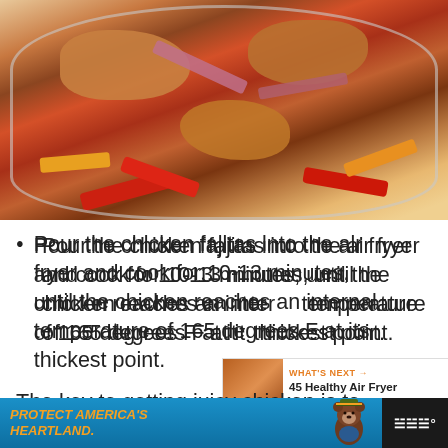[Figure (photo): Overhead view of a glass bowl containing cooked chicken fajitas with red and orange bell pepper strips and sliced red onions, seasoned with spices.]
Pour the chicken fajitas into the air fryer and cook for 10-13 minutes, until the chicken reaches an internal temperature of 165 degrees F at its thickest point.
The key to getting juicy chicken is to
[Figure (screenshot): WHAT'S NEXT promotional box showing '45 Healthy Air Fryer Recipes' with a food thumbnail image.]
[Figure (photo): Advertisement banner: PROTECT AMERICA'S HEARTLAND. with Smokey Bear image.]